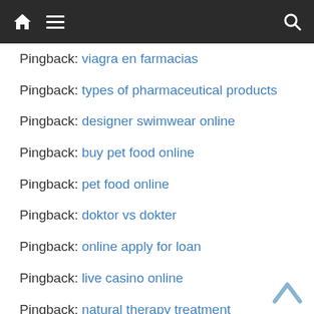Navigation bar with home, menu, and search icons
Pingback: viagra en farmacias
Pingback: types of pharmaceutical products
Pingback: designer swimwear online
Pingback: buy pet food online
Pingback: pet food online
Pingback: doktor vs dokter
Pingback: online apply for loan
Pingback: live casino online
Pingback: natural therapy treatment
Pingback: benchtop environmental test chamber